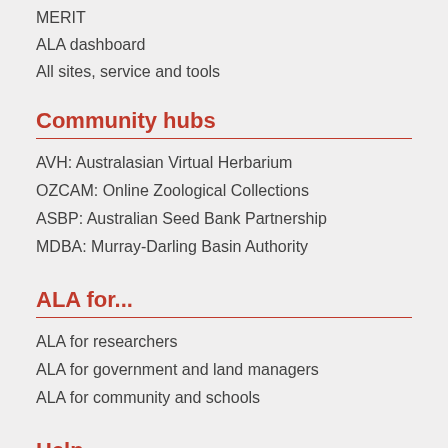MERIT
ALA dashboard
All sites, service and tools
Community hubs
AVH: Australasian Virtual Herbarium
OZCAM: Online Zoological Collections
ASBP: Australian Seed Bank Partnership
MDBA: Murray-Darling Basin Authority
ALA for...
ALA for researchers
ALA for government and land managers
ALA for community and schools
Help